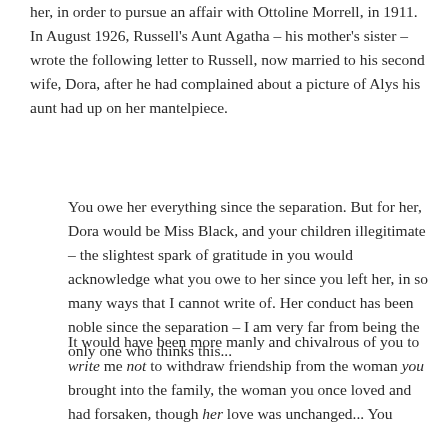her, in order to pursue an affair with Ottoline Morrell, in 1911. In August 1926, Russell's Aunt Agatha – his mother's sister – wrote the following letter to Russell, now married to his second wife, Dora, after he had complained about a picture of Alys his aunt had up on her mantelpiece.
You owe her everything since the separation. But for her, Dora would be Miss Black, and your children illegitimate – the slightest spark of gratitude in you would acknowledge what you owe to her since you left her, in so many ways that I cannot write of. Her conduct has been noble since the separation – I am very far from being the only one who thinks this...
It would have been more manly and chivalrous of you to write me not to withdraw friendship from the woman you brought into the family, the woman you once loved and had forsaken, though her love was unchanged... You